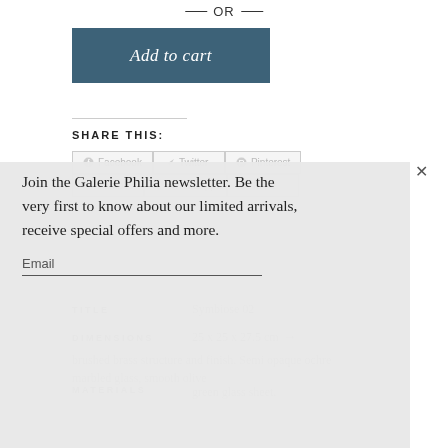— OR —
[Figure (other): Add to cart button with dark teal background]
SHARE THIS:
[Figure (screenshot): Social share buttons: Facebook, Twitter, Pinterest, Tumblr, WhatsApp, More]
[Figure (other): Newsletter signup modal overlay with close button, text, and email input field]
Join the Galerie Philia newsletter. Be the very first to know about our limited arrivals, receive special offers and more.
Email
| TITLE | DIMENSIONS | MATERIALS |
| --- | --- | --- |
| Symbiose 02 | 25 x 25 x 27.5 cm → | brushed brass structure and finish. Semi opaque ochre marbled glass, smooth olive green glass sheet. |